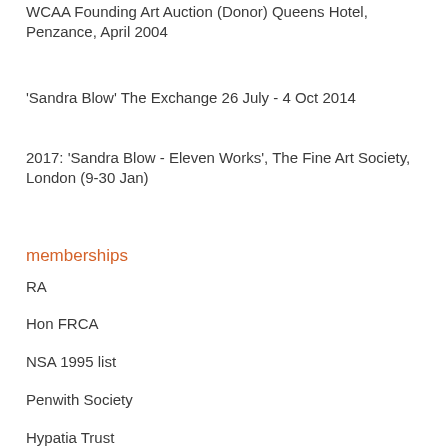WCAA Founding Art Auction (Donor) Queens Hotel, Penzance, April 2004
'Sandra Blow' The Exchange 26 July - 4 Oct 2014
2017: 'Sandra Blow - Eleven Works', The Fine Art Society, London (9-30 Jan)
memberships
RA
Hon FRCA
NSA 1995 list
Penwith Society
Hypatia Trust